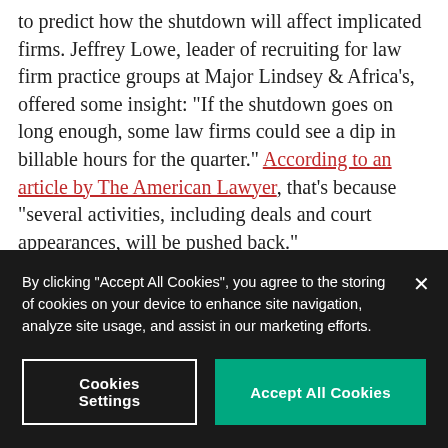to predict how the shutdown will affect implicated firms. Jeffrey Lowe, leader of recruiting for law firm practice groups at Major Lindsey & Africa's, offered some insight: “If the shutdown goes on long enough, some law firms could see a dip in billable hours for the quarter.” According to an article by The American Lawyer, that’s because “several activities, including deals and court appearances, will be pushed back.”
Shutdowns impact many government f...
By clicking “Accept All Cookies”, you agree to the storing of cookies on your device to enhance site navigation, analyze site usage, and assist in our marketing efforts.